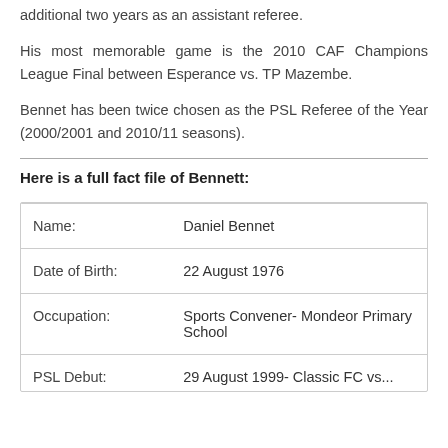additional two years as an assistant referee.
His most memorable game is the 2010 CAF Champions League Final between Esperance vs. TP Mazembe.
Bennet has been twice chosen as the PSL Referee of the Year (2000/2001 and 2010/11 seasons).
Here is a full fact file of Bennett:
| Field | Value |
| --- | --- |
| Name: | Daniel Bennet |
| Date of Birth: | 22 August 1976 |
| Occupation: | Sports Convener- Mondeor Primary School |
| PSL Debut: | 29 August 1999- Classic FC vs... |